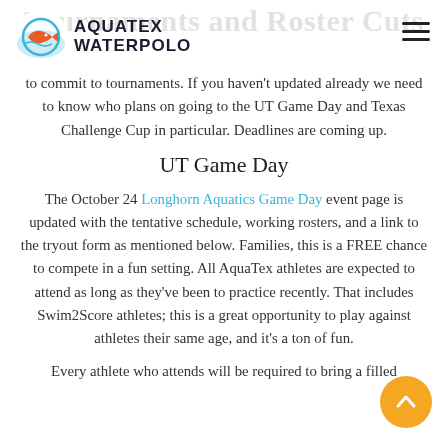Tournaments and Roster Cuts
to commit to tournaments. If you haven't updated already we need to know who plans on going to the UT Game Day and Texas Challenge Cup in particular. Deadlines are coming up.
UT Game Day
The October 24 Longhorn Aquatics Game Day event page is updated with the tentative schedule, working rosters, and a link to the tryout form as mentioned below. Families, this is a FREE chance to compete in a fun setting. All AquaTex athletes are expected to attend as long as they've been to practice recently. That includes Swim2Score athletes; this is a great opportunity to play against athletes their same age, and it's a ton of fun.
Every athlete who attends will be required to bring a filled